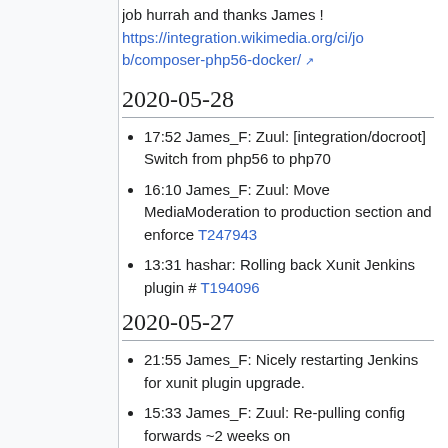job hurrah and thanks James ! https://integration.wikimedia.org/ci/job/composer-php56-docker/
2020-05-28
17:52 James_F: Zuul: [integration/docroot] Switch from php56 to php70
16:10 James_F: Zuul: Move MediaModeration to production section and enforce T247943
13:31 hashar: Rolling back Xunit Jenkins plugin # T194096
2020-05-27
21:55 James_F: Nicely restarting Jenkins for xunit plugin upgrade.
15:33 James_F: Zuul: Re-pulling config forwards ~2 weeks on